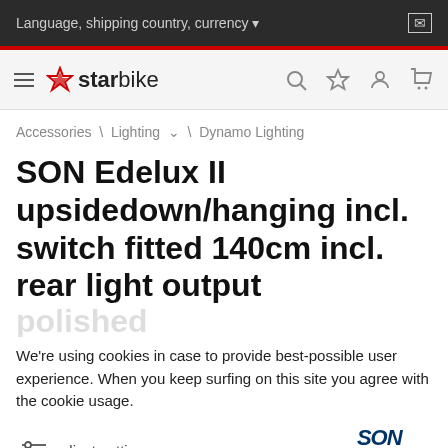Language, shipping country, currency
[Figure (logo): Starbike logo with star icon and text 'starbike']
Accessories \ Lighting \ Dynamo Lighting
SON Edelux II upsidedown/hanging incl. switch fitted 140cm incl. rear light output polished
We're using cookies in case to provide best-possible user experience. When you keep surfing on this site you agree with the cookie usage.
adjust settings
I do accept ✓